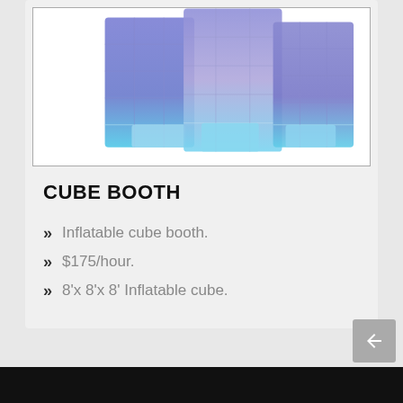[Figure (photo): Inflatable cube booths in blue/purple tones, multiple cube structures shown together]
CUBE BOOTH
Inflatable cube booth.
$175/hour.
8'x 8'x 8' Inflatable cube.